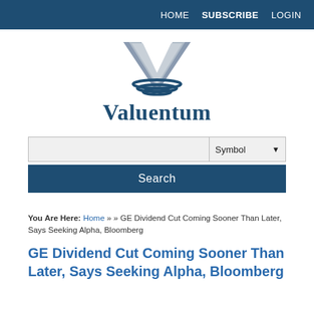HOME  SUBSCRIBE  LOGIN
[Figure (logo): Valuentum logo: large silver V with blue horizontal wave lines beneath it]
Valuentum
Symbol (dropdown) Search
You Are Here: Home » » GE Dividend Cut Coming Sooner Than Later, Says Seeking Alpha, Bloomberg
GE Dividend Cut Coming Sooner Than Later, Says Seeking Alpha, Bloomberg